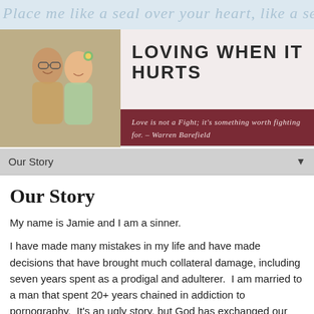Place me like a seal over your heart, like a seal on you
[Figure (photo): Blog banner with a couple's photo on the left and the blog title 'LOVING WHEN IT HURTS' on the right with a dark red tagline bar reading: Love is not a Fight; it's something worth fighting for. - Warren Barefield]
Our Story
Our Story
My name is Jamie and I am a sinner.
I have made many mistakes in my life and have made decisions that have brought much collateral damage, including seven years spent as a prodigal and adulterer. I am married to a man that spent 20+ years chained in addiction to pornography. It's an ugly story, but God has exchanged our ashes for beauty and we now wear